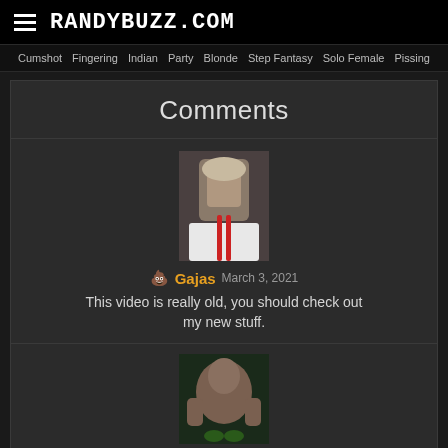RANDYBUZZ.COM
Cumshot  Fingering  Indian  Party  Blonde  Step Fantasy  Solo Female  Pissing
Comments
[Figure (photo): Profile photo of user Gajas — young male with white shirt and suspenders]
💩 Gajas   March 3, 2021
This video is really old, you should check out my new stuff.
[Figure (photo): Profile photo of user Malami — male with no shirt]
💩 Malami   April 4, 2020
Those legs, that pretty face